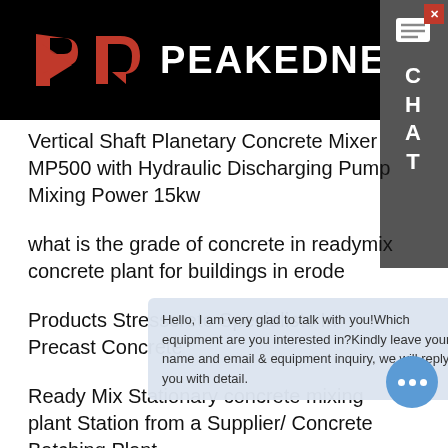PEAKEDNESS
Vertical Shaft Planetary Concrete Mixer MP500 with Hydraulic Discharging Pump Mixing Power 15kw
what is the grade of concrete in readymix concrete plant for buildings in erode
Products Stresscrete Specialists In Precast Concrete
Ready Mix Stationary concrete mixing plant Station from a Supplier/ Concrete Batching Plant
popular concrete batching plant with good quality concrete bull float hzs90 hzs120
219mm ... ch... Plant
Hello, I am very glad to talk with you!Which equipment are you interested in?Kindly leave your name and email & equipment inquiry, we will reply you with detail.